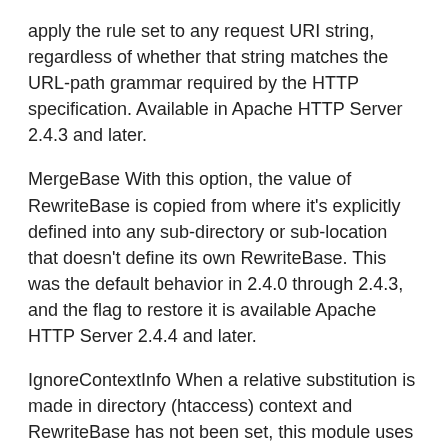apply the rule set to any request URI string, regardless of whether that string matches the URL-path grammar required by the HTTP specification. Available in Apache HTTP Server 2.4.3 and later.
MergeBase With this option, the value of RewriteBase is copied from where it's explicitly defined into any sub-directory or sub-location that doesn't define its own RewriteBase. This was the default behavior in 2.4.0 through 2.4.3, and the flag to restore it is available Apache HTTP Server 2.4.4 and later.
IgnoreContextInfo When a relative substitution is made in directory (htaccess) context and RewriteBase has not been set, this module uses some extended URL and filesystem context information to change the relative substitution back into a URL. Modules such as mod_userdir and mod_alias supply this extended context